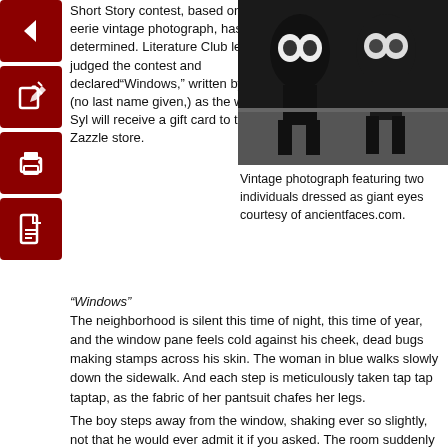[Figure (other): Four dark red navigation icon buttons stacked vertically on the left: back arrow, edit/pencil, printer, and PDF document icons]
Short Story contest, based on an eerie vintage photograph, has been determined. Literature Club leaders judged the contest and declared“Windows,” written by Syl (no last name given,) as the winner. Syl will receive a gift card to the Zazzle store.
[Figure (photo): Vintage black and white photograph featuring two individuals dressed as giant eyes, silhouetted figures on a sidewalk]
Vintage photograph featuring two individuals dressed as giant eyes courtesy of ancientfaces.com.
“Windows”
The neighborhood is silent this time of night, this time of year, and the window pane feels cold against his cheek, dead bugs making stamps across his skin. The woman in blue walks slowly down the sidewalk. And each step is meticulously taken tap tap taptap, as the fabric of her pantsuit chafes her legs.

The boy steps away from the window, shaking ever so slightly, not that he would ever admit it if you asked. The room suddenly feels cold and his breath comes in ghostly cigar wisps. The woman is almost out of view now, but not quite and some part of him still feels her gaze on his face. He shudders more visibly now and backs away, he should go